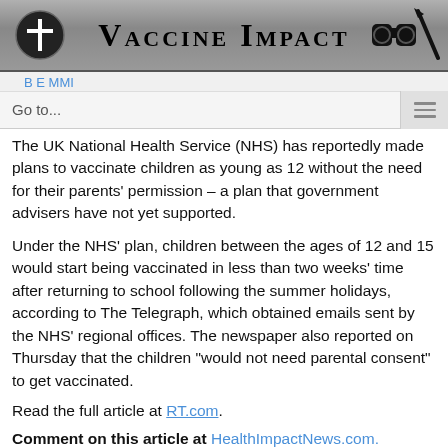[Figure (logo): Vaccine Impact website header banner with grey gradient background, circular cross icon on left, 'VACCINE IMPACT' title in center, binoculars and arrow icon on right]
Go to...
The UK National Health Service (NHS) has reportedly made plans to vaccinate children as young as 12 without the need for their parents' permission – a plan that government advisers have not yet supported.
Under the NHS' plan, children between the ages of 12 and 15 would start being vaccinated in less than two weeks' time after returning to school following the summer holidays, according to The Telegraph, which obtained emails sent by the NHS' regional offices. The newspaper also reported on Thursday that the children "would not need parental consent" to get vaccinated.
Read the full article at RT.com.
Comment on this article at HealthImpactNews.com.